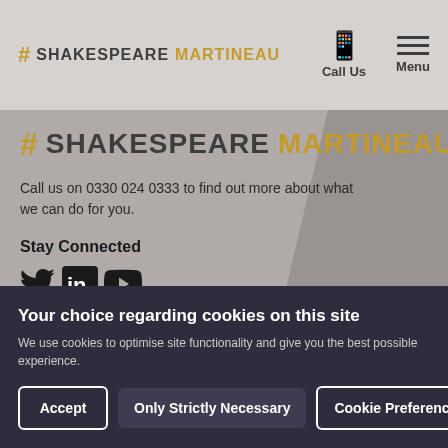SHAKESPEAREMARTINEAU | Call Us | Menu
[Figure (logo): Shakespeare Martineau logo with hashtag icon, SHAKESPEARE in dark and MARTINEAU in gold]
Call us on 0330 024 0333 to find out more about what we can do for you.
Stay Connected
[Figure (infographic): Social media icons: Twitter bird, LinkedIn 'in', YouTube play button]
[Figure (infographic): Gold circular button with wifi/broadcast icon]
Explore   Our Offices
Your choice regarding cookies on this site
We use cookies to optimise site functionality and give you the best possible experience.
Accept | Only Strictly Necessary | Cookie Preferences